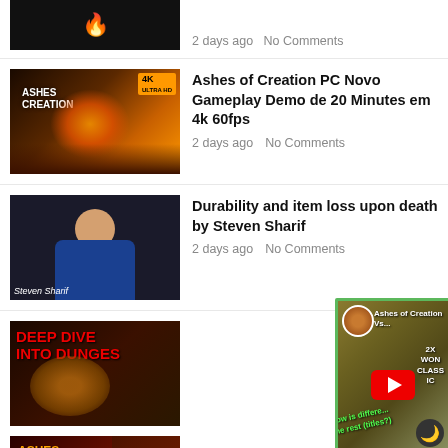[Figure (screenshot): Partial video thumbnail - dark background with logo at top]
2 days ago   No Comments
[Figure (screenshot): Ashes of Creation thumbnail with 4K badge and phoenix logo]
Ashes of Creation PC Novo Gameplay Demo de 20 Minutes em 4k 60fps
2 days ago   No Comments
[Figure (screenshot): Steven Sharif video thumbnail showing person in dark shirt]
Durability and item loss upon death by Steven Sharif
2 days ago   No Comments
[Figure (screenshot): Deep Dive Into Dungeons thumbnail with red text and creature]
[Figure (screenshot): Ashes of Creation Vs. floating video overlay with YouTube play button and green border]
[Figure (screenshot): Ashes of Creation thumbnail partial at bottom]